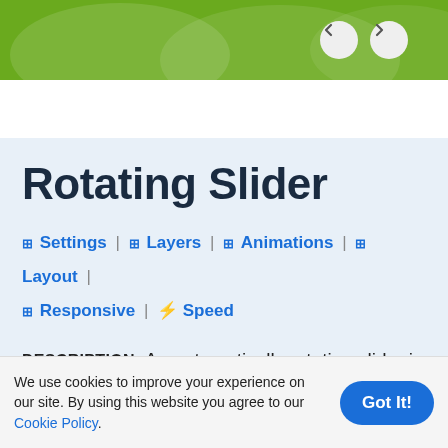Rotating Slider - navigation header with green background and prev/next arrows
Rotating Slider
⊞ Settings | ⊞ Layers | ⊞ Animations | ⊞ Layout | ⊞ Responsive | ⚡ Speed
DESCRIPTION: An automatically rotating slider is a great tool to encourage visitors to stay on your site. A rotating slider can help featuring
We use cookies to improve your experience on our site. By using this website you agree to our Cookie Policy.